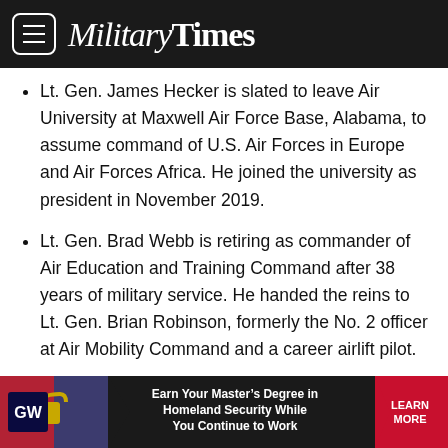Military Times
Lt. Gen. James Hecker is slated to leave Air University at Maxwell Air Force Base, Alabama, to assume command of U.S. Air Forces in Europe and Air Forces Africa. He joined the university as president in November 2019.
Lt. Gen. Brad Webb is retiring as commander of Air Education and Training Command after 38 years of military service. He handed the reins to Lt. Gen. Brian Robinson, formerly the No. 2 officer at Air Mobility Command and a career airlift pilot.
Gen. Arnold Bunch retired Monday after three years as Air Force Materiel Command’s top officer and almost 40 years in the service. Gen. Duke Richardson, the former military deputy
[Figure (screenshot): GW advertisement banner: Earn Your Master's Degree in Homeland Security While You Continue to Work. Learn More button.]